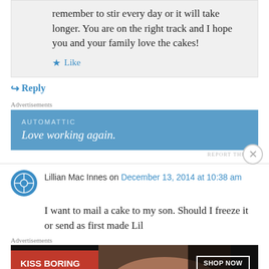remember to stir every day or it will take longer. You are on the right track and I hope you and your family love the cakes!
Like
Reply
Advertisements
[Figure (screenshot): Automattic advertisement banner with blue background. Text reads: AUTOMATTIC / Love working again.]
REPORT THIS AD
Lillian Mac Innes on December 13, 2014 at 10:38 am
I want to mail a cake to my son. Should I freeze it or send as first made Lil
Advertisements
[Figure (screenshot): Macy's advertisement banner. Red background on left reads: KISS BORING LIPS GOODBYE. Right side shows a woman's face with red lipstick, SHOP NOW button, and Macy's logo with star.]